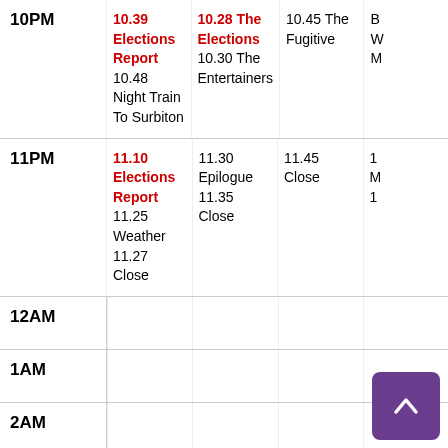| Time | Channel 1 | Channel 2 | Channel 3 | Channel 4 |
| --- | --- | --- | --- | --- |
| 10PM | 10.39 Elections Report
10.48 Night Train To Surbiton | 10.28 The Elections
10.30 The Entertainers | 10.45 The Fugitive | B
W
M |
| 11PM | 11.10 Elections Report
11.25 Weather
11.27 Close | 11.30 Epilogue
11.35 Close | 11.45 Close | 1
M
1 |
| 12AM |  |  |  |  |
| 1AM |  |  |  |  |
| 2AM |  |  |  |  |
| 3AM |  |  |  |  |
| 4AM |  |  |  |  |